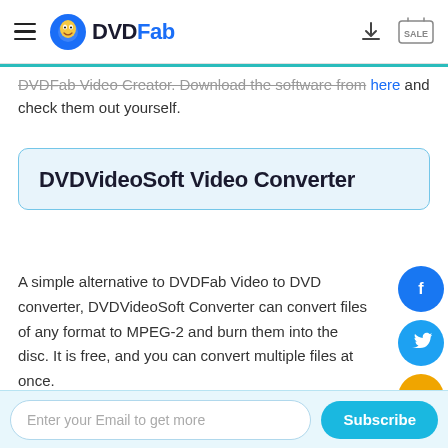DVDFab
DVDFab Video Creator. Download the software from here and check them out yourself.
DVDVideoSoft Video Converter
A simple alternative to DVDFab Video to DVD converter, DVDVideoSoft Converter can convert files of any format to MPEG-2 and burn them into the disc. It is free, and you can convert multiple files at once.
Enter your Email to get more
Subscribe